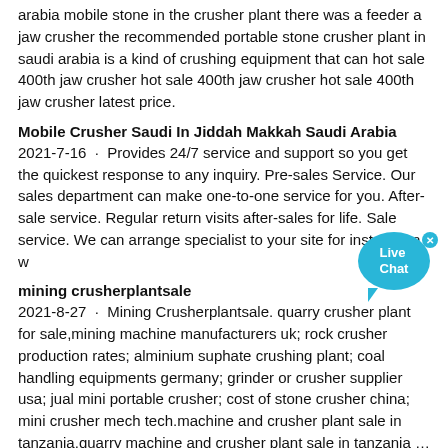arabia mobile stone in the crusher plant there was a feeder a jaw crusher the recommended portable stone crusher plant in saudi arabia is a kind of crushing equipment that can hot sale 400th jaw crusher hot sale 400th jaw crusher hot sale 400th jaw crusher latest price.
Mobile Crusher Saudi In Jiddah Makkah Saudi Arabia
2021-7-16 · Provides 24/7 service and support so you get the quickest response to any inquiry. Pre-sales Service. Our sales department can make one-to-one service for you. After-sale service. Regular return visits after-sales for life. Sale service. We can arrange specialist to your site for installation w
mining crusherplantsale
2021-8-27 · Mining Crusherplantsale. quarry crusher plant for sale,mining machine manufacturers uk; rock crusher production rates; alminium suphate crushing plant; coal handling equipments germany; grinder or crusher supplier usa; jual mini portable crusher; cost of stone crusher china; mini crusher mech tech.machine and crusher plant sale in tanzania,quarry machine and crusher plant sale in tanzania …
afri-fola
Gold ore concentration plant. January 7, 2015 May 1, 2015. At the Gold ore Processing Plant, gols should be extracted from the ore. The processing plant alternates between treating ore from the mine open pit and from the underground mine. SCM Machinery Machinery is one of s world leading suppliers of